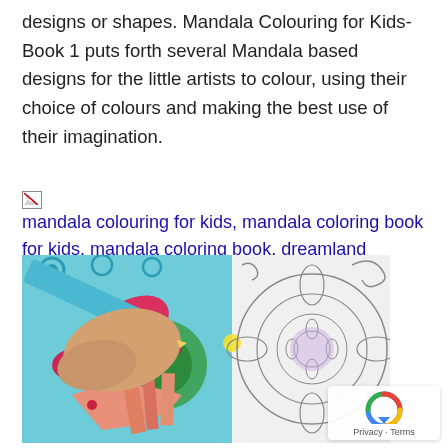designs or shapes. Mandala Colouring for Kids- Book 1 puts forth several Mandala based designs for the little artists to colour, using their choice of colours and making the best use of their imagination.
[Figure (other): Broken image placeholder with alt text: mandala colouring for kids, mandala coloring book for kids, mandala coloring book, dreamland mandala]
[Figure (photo): Photo of a hand holding a blue pencil colouring a mandala design. The left half shows a completed coloured mandala with teal, red/pink, and green colours. The right half shows the same mandala pattern uncoloured in black and white outlines.]
[Figure (other): Google reCAPTCHA widget with Privacy and Terms links at bottom right of page.]